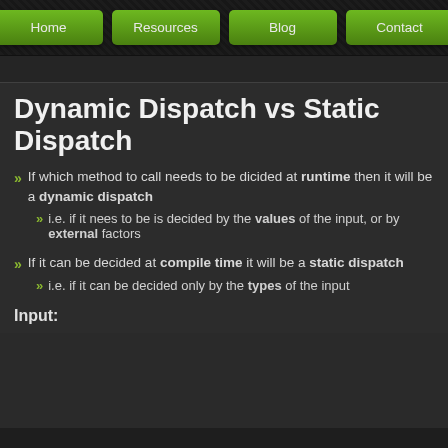Home | Resources | Blog | Contact
Dynamic Dispatch vs Static Dispatch
If which method to call needs to be dicided at runtime then it will be a dynamic dispatch
i.e. if it nees to be is decided by the values of the input, or by external factors
If it can be decided at compile time it will be a static dispatch
i.e. if it can be decided only by the types of the input
Input: